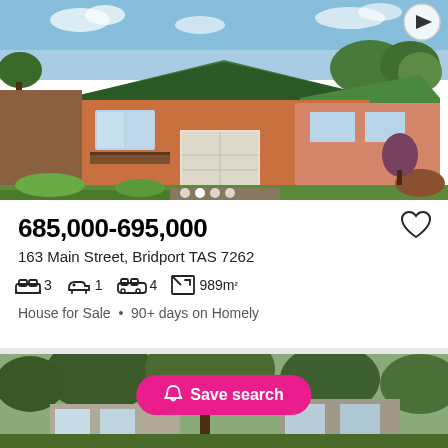[Figure (photo): Exterior photo of a brick house with green roof, balcony, garage door, and garden landscaping in Bridport TAS]
685,000-695,000
163 Main Street, Bridport TAS 7262
3 bedrooms, 1 bathroom, 4 car spaces, 989m²
House for Sale • 90+ days on Homely
[Figure (photo): Exterior photo of a house surrounded by trees, partially visible]
Save search